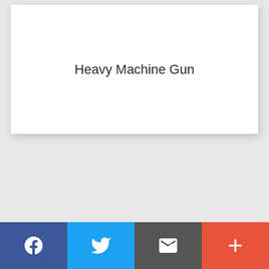Heavy Machine Gun
[Figure (other): Social sharing bar with Facebook, Twitter, Email, and More (+) buttons]